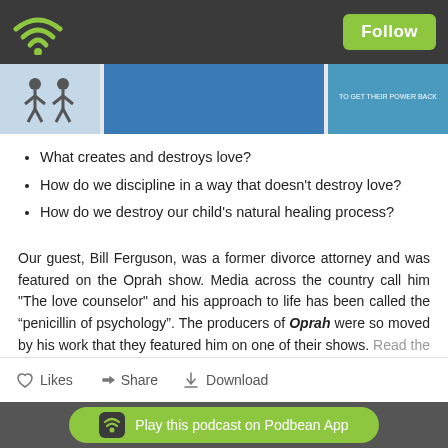[Figure (screenshot): App top navigation bar with wifi icon and Follow button]
[Figure (photo): Image strip with book cover thumbnails]
What creates and destroys love?
How do we discipline in a way that doesn't destroy love?
How do we destroy our child's natural healing process?
Our guest, Bill Ferguson, was a former divorce attorney and was featured on the Oprah show. Media across the country call him "The love counselor" and his approach to life has been called the “penicillin of psychology”. The producers of Oprah were so moved by his work that they featured him on one of their shows. Read the rest of this entry »
[Figure (screenshot): Podcast action bar with Likes, Share, and Download controls]
[Figure (screenshot): Podbean app play banner at bottom]